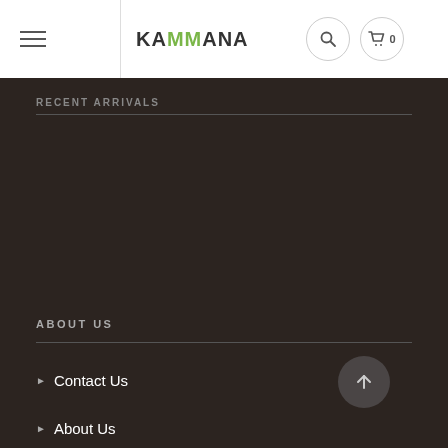KAMMANA
RECENT ARRIVALS
[Figure (other): Dark brown background area representing a product listing or image section]
ABOUT US
Contact Us
About Us